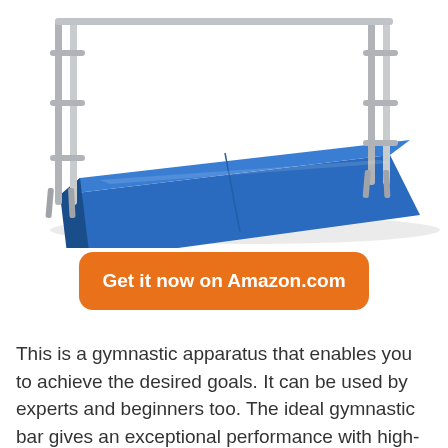[Figure (photo): A blue gymnastics mat with metal bar/rail frame structure, photographed at an angle on white background]
Get it now on Amazon.com
This is a gymnastic apparatus that enables you to achieve the desired goals. It can be used by experts and beginners too. The ideal gymnastic bar gives an exceptional performance with high-durability. The